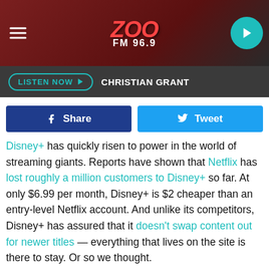[Figure (logo): ZOO FM 96.9 radio station header with red background, logo in center, hamburger menu left, play button right]
LISTEN NOW ▶  CHRISTIAN GRANT
[Figure (infographic): Facebook Share button and Twitter Tweet button side by side]
Disney+ has quickly risen to power in the world of streaming giants. Reports have shown that Netflix has lost roughly a million customers to Disney+ so far. At only $6.99 per month, Disney+ is $2 cheaper than an entry-level Netflix account. And unlike its competitors, Disney+ has assured that it doesn't swap content out for newer titles — everything that lives on the site is there to stay. Or so we thought.
With the arrival of 2020, users have been quick to notice that Disney+ has indeed removed some of its movies from its digital library. The most shocking? Home Alone 1 and 2. Fans of the holiday comedy series took to Twitter with their